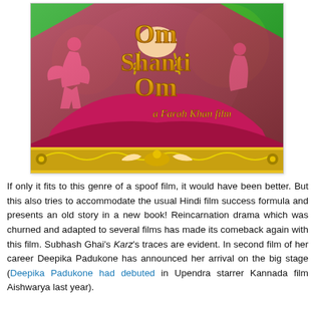[Figure (photo): Movie poster for 'Om Shanti Om', a Farah Khan film. The poster features a woman in a bright pink flowing dress with gold jewellery, dancing figures in the background on a green stage, and the film title in large golden ornate letters. At the bottom is decorative golden filigree and swan motifs.]
If only it fits to this genre of a spoof film, it would have been better. But this also tries to accommodate the usual Hindi film success formula and presents an old story in a new book! Reincarnation drama which was churned and adapted to several films has made its comeback again with this film. Subhash Ghai's Karz's traces are evident. In second film of her career Deepika Padukone has announced her arrival on the big stage (Deepika Padukone had debuted in Upendra starrer Kannada film Aishwarya last year).